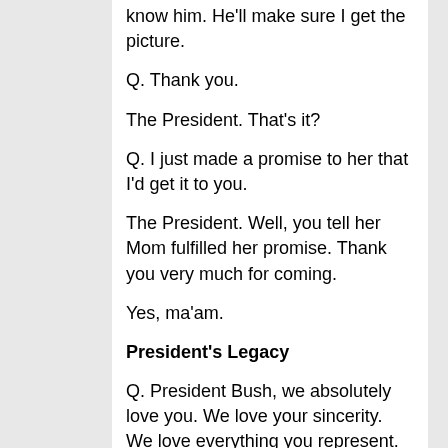know him. He'll make sure I get the picture.
Q. Thank you.
The President. That's it?
Q. I just made a promise to her that I'd get it to you.
The President. Well, you tell her Mom fulfilled her promise. Thank you very much for coming.
Yes, ma'am.
President's Legacy
Q. President Bush, we absolutely love you. We love your sincerity. We love everything you represent.
The President. Thank you.
Q. And my one question for you is, 50